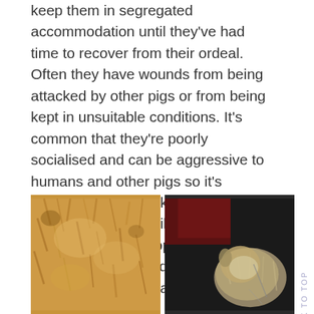keep them in segregated accommodation until they've had time to recover from their ordeal. Often they have wounds from being attacked by other pigs or from being kept in unsuitable conditions. It's common that they're poorly socialised and can be aggressive to humans and other pigs so it's important that we take good regular care of each pig until they're ready to enter the general population. Some guinea pigs never adjust to life with other pigs and they are housed separately.
[Figure (photo): Close-up photo of orange/tan guinea pig fur]
[Figure (photo): Photo of a guinea pig with light/grey fur against a dark background]